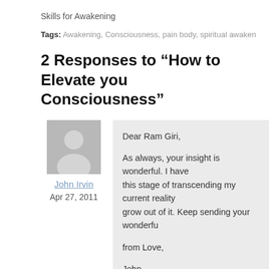Skills for Awakening
Tags: Awakening, Consciousness, pain body, spiritual awaken…
2 Responses to “How to Elevate you… Consciousness”
Dear Ram Giri,

As always, your insight is wonderful. I have… this stage of transcending my current reality… grow out of it. Keep sending your wonderfu…

from Love,

John
John Irvin
Apr 27, 2011